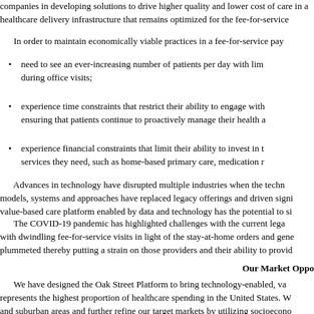companies in developing solutions to drive higher quality and lower cost of care in a healthcare delivery infrastructure that remains optimized for the fee-for-service
In order to maintain economically viable practices in a fee-for-service pay
need to see an ever-increasing number of patients per day with lim during office visits;
experience time constraints that restrict their ability to engage with ensuring that patients continue to proactively manage their health a
experience financial constraints that limit their ability to invest in t services they need, such as home-based primary care, medication r
Advances in technology have disrupted multiple industries when the techn models, systems and approaches have replaced legacy offerings and driven signi value-based care platform enabled by data and technology has the potential to si
The COVID-19 pandemic has highlighted challenges with the current lega with dwindling fee-for-service visits in light of the stay-at-home orders and gene plummeted thereby putting a strain on those providers and their ability to provid
Our Market Oppo
We have designed the Oak Street Platform to bring technology-enabled, va represents the highest proportion of healthcare spending in the United States. W and suburban areas and further refine our target markets by utilizing socioecono unnecessary spend. As of 2018, there were approximately 60 million Medicare b individuals reaching the age of eligibility every day. Healthcare spending in the accounted for more than $700 billion of spending in 2019. We estimate our add